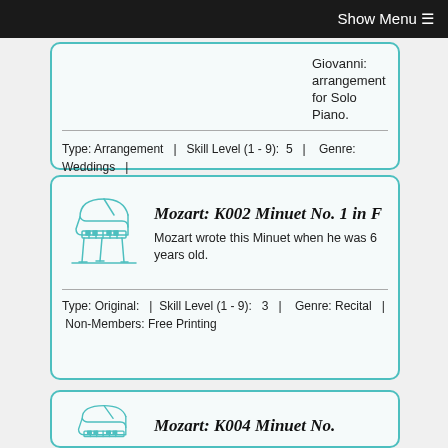Show Menu ☰
Giovanni: arrangement for Solo Piano.
Type: Arrangement  |  Skill Level (1 - 9):  5   |   Genre: Weddings  |
Mozart: K002 Minuet No. 1 in F
Mozart wrote this Minuet when he was 6 years old.
Type: Original:   |  Skill Level (1 - 9):  3   |   Genre: Recital  |  Non-Members: Free Printing
Mozart: K004 Minuet No.